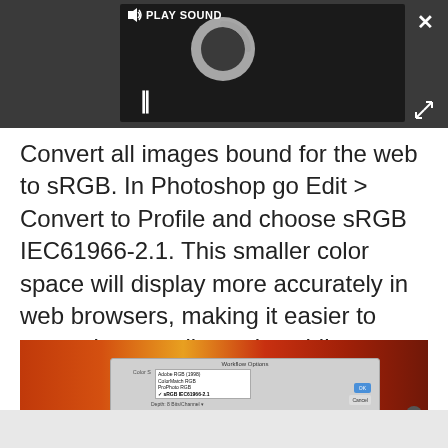[Figure (screenshot): Dark video player UI with a spinning/loading circle graphic, pause button (||), PLAY SOUND label with speaker icon, an X close button, and an expand/fullscreen icon]
Convert all images bound for the web to sRGB. In Photoshop go Edit > Convert to Profile and choose sRGB IEC61966-2.1. This smaller color space will display more accurately in web browsers, making it easier to approximate online color whilst editing.
[Figure (screenshot): Screenshot of Photoshop Workflow Options dialog box showing color space options including Adobe RGB (1998), ColorMatch RGB, ProPhoto RGB, and sRGB IEC61966-2.1 selected, over a background of autumn foliage]